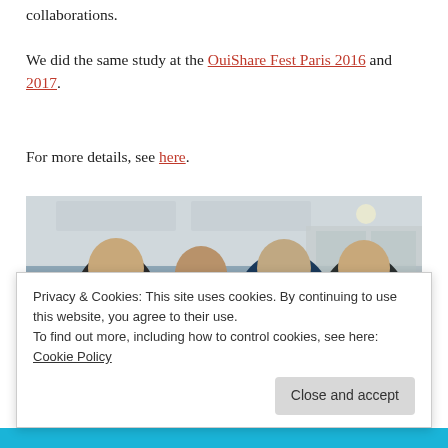collaborations.
We did the same study at the OuiShare Fest Paris 2016 and 2017.
For more details, see here.
[Figure (photo): Group photo of four people (three women and one man) standing together indoors, smiling at the camera, in what appears to be a conference or office setting with ceiling lights and glass partitions in the background.]
Privacy & Cookies: This site uses cookies. By continuing to use this website, you agree to their use.
To find out more, including how to control cookies, see here: Cookie Policy
Close and accept